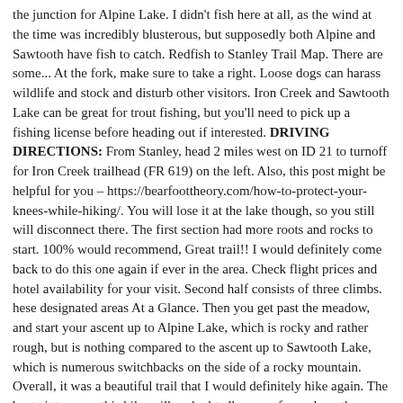the junction for Alpine Lake. I didn't fish here at all, as the wind at the time was incredibly blusterous, but supposedly both Alpine and Sawtooth have fish to catch. Redfish to Stanley Trail Map. There are some... At the fork, make sure to take a right. Loose dogs can harass wildlife and stock and disturb other visitors. Iron Creek and Sawtooth Lake can be great for trout fishing, but you'll need to pick up a fishing license before heading out if interested. DRIVING DIRECTIONS: From Stanley, head 2 miles west on ID 21 to turnoff for Iron Creek trailhead (FR 619) on the left. Also, this post might be helpful for you – https://bearfoottheory.com/how-to-protect-your-knees-while-hiking/. You will lose it at the lake though, so you still will disconnect there. The first section had more roots and rocks to start. 100% would recommend, Great trail!! I would definitely come back to do this one again if ever in the area. Check flight prices and hotel availability for your visit. Second half consists of three climbs. hese designated areas At a Glance. Then you get past the meadow, and start your ascent up to Alpine Lake, which is rocky and rather rough, but is nothing compared to the ascent up to Sawtooth Lake, which is numerous switchbacks on the side of a rocky mountain. Overall, it was a beautiful trail that I would definitely hike again. The best pictures on this hike will undoubtedly come from along the banks of crystal-clear Sawtooth Lake with Mount Regan, the tallest peak in the Sawtooth Range, in the background. On each hike I was satisfied, but I had no idea what I was missing out on. Before you start your hike, make sure to check out the bulletin board at the Iron Creek